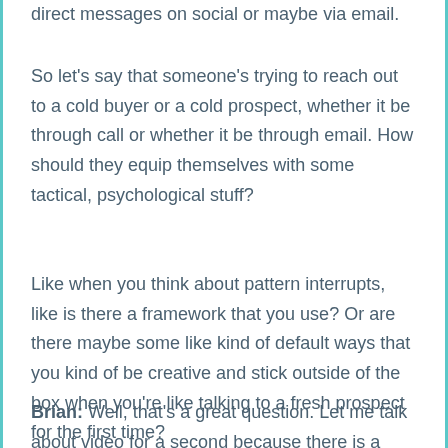direct messages on social or maybe via email.
So let's say that someone's trying to reach out to a cold buyer or a cold prospect, whether it be through call or whether it be through email. How should they equip themselves with some tactical, psychological stuff?
Like when you think about pattern interrupts, like is there a framework that you use? Or are there maybe some like kind of default ways that you kind of be creative and stick outside of the box when you're like talking to a fresh prospect for the first time?
Brian: Well, that's a great question. Let me talk about video for a second because there is a